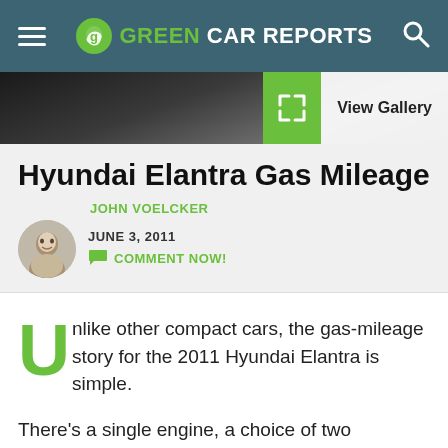GREEN CAR REPORTS
[Figure (photo): Dark hero image showing part of a car, with a green View Gallery button on the right]
Hyundai Elantra Gas Mileage
JOHN VOELCKER
JUNE 3, 2011
COMMENT NOW!
Unlike other compact cars, the gas-mileage story for the 2011 Hyundai Elantra is simple.
There's a single engine, a choice of two transmissions--six-speed automatic in one and...